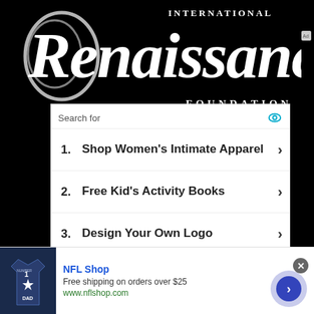[Figure (logo): International Renaissance Foundation logo — stylized script 'Renaissance' in white on black background, with 'INTERNATIONAL' and 'FOUNDATION' in serif text to the upper and lower right]
[Figure (screenshot): Search ad unit with header 'Search for' and an eye icon, listing three items: 1. Shop Women's Intimate Apparel, 2. Free Kid's Activity Books, 3. Design Your Own Logo, each with a right chevron arrow]
[Figure (screenshot): NFL Shop advertisement banner: image of navy jersey with #1 Dad, text 'NFL Shop', 'Free shipping on orders over $25', 'www.nflshop.com', with a close button (x) and a circular next arrow button]